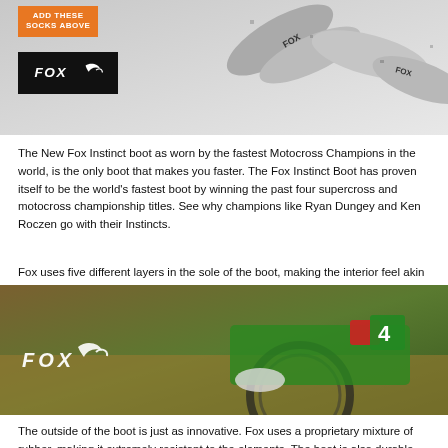[Figure (photo): Fox Racing socks product image with Fox logo on black background and orange 'ADD THESE SOCKS ABOVE' badge]
The New Fox Instinct boot as worn by the fastest Motocross Champions in the world, is the only boot that makes you faster. The Fox Instinct Boot has proven itself to be the world's fastest boot by winning the past four supercross and motocross championship titles. See why champions like Ryan Dungey and Ken Roczen go with their Instincts.
Fox uses five different layers in the sole of the boot, making the interior feel akin to a high-end running shoe. A steel shank, which is sandwiched between layers, provides additional support as well as impact protection. Beneath that, a thermoplastic insert provides support for the heel and arch of your foot.
[Figure (photo): Fox Racing motocross rider on a green Kawasaki motorcycle with number 4, with Fox logo overlaid in white]
The outside of the boot is just as innovative. Fox uses a proprietary mixture of rubber, making it extremely resistant to the elements. The boot is also durable, capable of withstanding plenty of use and abuse, and the unique blend of outer